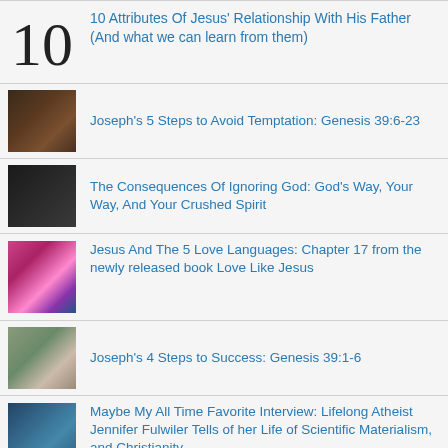10 Attributes Of Jesus' Relationship With His Father (And what we can learn from them)
Joseph's 5 Steps to Avoid Temptation: Genesis 39:6-23
The Consequences Of Ignoring God: God's Way, Your Way, And Your Crushed Spirit
Jesus And The 5 Love Languages: Chapter 17 from the newly released book Love Like Jesus
Joseph's 4 Steps to Success: Genesis 39:1-6
Maybe My All Time Favorite Interview: Lifelong Atheist Jennifer Fulwiler Tells of her Life of Scientific Materialism, and Christianity